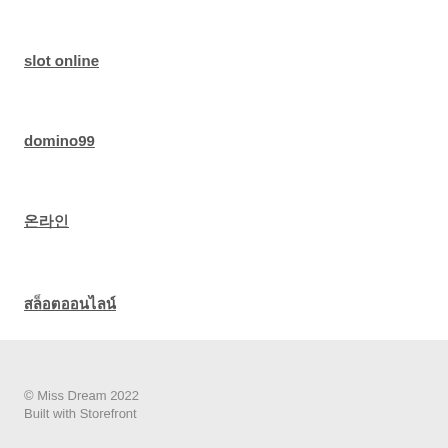slot online
domino99
온라인
สล็อตออนไลน์
© Miss Dream 2022
Built with Storefront